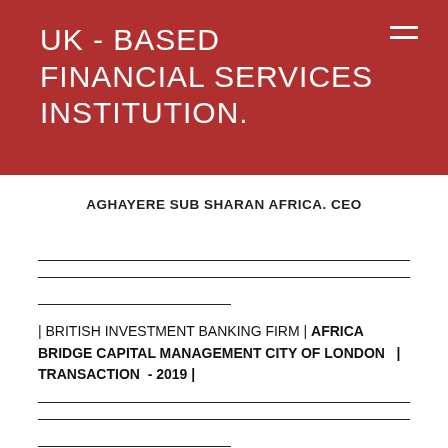UK - BASED FINANCIAL SERVICES INSTITUTION.
AGHAYERE SUB SHARAN AFRICA. CEO
| BRITISH INVESTMENT BANKING FIRM | AFRICA BRIDGE CAPITAL MANAGEMENT CITY OF LONDON  | TRANSACTION  - 2019 |
[ LEAD ARRANGER ]  CLEMENT AGHAYERE, is  exclusively mandated as Transaction Advisors and Fund arrangers  BY  ECOWAS BANK OF